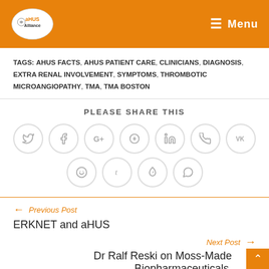aHUS Alliance — Menu
TAGS: AHUS FACTS, AHUS PATIENT CARE, CLINICIANS, DIAGNOSIS, EXTRA RENAL INVOLVEMENT, SYMPTOMS, THROMBOTIC MICROANGIOPATHY, TMA, TMA BOSTON
PLEASE SHARE THIS
[Figure (infographic): Social sharing icons in circular buttons: Twitter, Facebook, Google+, Pinterest, LinkedIn, Phone/Viber, VK (top row); Reddit, Tumblr, Delicious/Fancy, WhatsApp (bottom row)]
← Previous Post
ERKNET and aHUS
Next Post →
Dr Ralf Reski on Moss-Made Biopharmaceuticals.